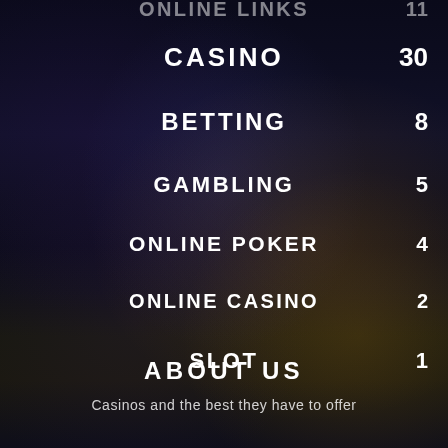[Figure (photo): Dark aerial night photo of Las Vegas strip with city lights, used as background]
CASINO 30
BETTING 8
GAMBLING 5
ONLINE POKER 4
ONLINE CASINO 2
SLOT 1
ABOUT US
Casinos and the best they have to offer